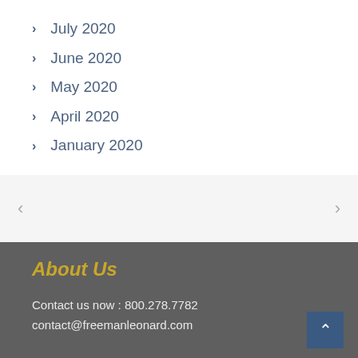July 2020
June 2020
May 2020
April 2020
January 2020
About Us
Contact us now : 800.278.7782
contact@freemanleonard.com